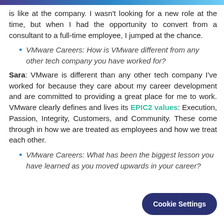is like at the company. I wasn't looking for a new role at the time, but when I had the opportunity to convert from a consultant to a full-time employee, I jumped at the chance.
VMware Careers: How is VMware different from any other tech company you have worked for?
Sara: VMware is different than any other tech company I've worked for because they care about my career development and are committed to providing a great place for me to work. VMware clearly defines and lives its EPIC2 values: Execution, Passion, Integrity, Customers, and Community. These come through in how we are treated as employees and how we treat each other.
VMware Careers: What has been the biggest lesson you have learned as you moved upwards in your career?